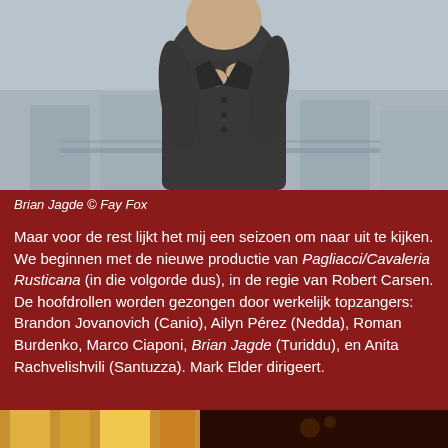[Figure (photo): Photo of Brian Jagde, a man in a dark grey jacket, adjusting his collar, with a blurred cityscape background. Photo credit: Fay Fox.]
Brian Jagde © Fay Fox
Maar voor de rest lijkt het mij een seizoen om naar uit te kijken. We beginnen met de nieuwe productie van Pagliacci/Cavaleria Rusticana (in die volgorde dus), in de regie van Robert Carsen. De hoofdrollen worden gezongen door werkelijk topzangers: Brandon Jovanovich (Canio), Ailyn Pérez (Nedda), Roman Burdenko, Marco Ciaponi, Brian Jagde (Turiddu), en Anita Rachvelishvili (Santuzza). Mark Elder dirigeert.
[Figure (photo): Partial photo at bottom of page showing warm golden/amber tones, likely a stage or performance scene.]